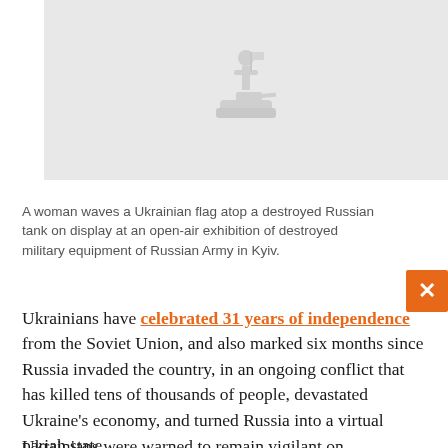[Figure (photo): A woman waves a Ukrainian flag atop a destroyed Russian tank at an open-air exhibition in Kyiv. Image appears partially cropped/obscured.]
A woman waves a Ukrainian flag atop a destroyed Russian tank on display at an open-air exhibition of destroyed military equipment of Russian Army in Kyiv.
Ukrainians have celebrated 31 years of independence from the Soviet Union, and also marked six months since Russia invaded the country, in an ongoing conflict that has killed tens of thousands of people, devastated Ukraine's economy, and turned Russia into a virtual pariah state.
Ukrainians were warned to remain vigilant on